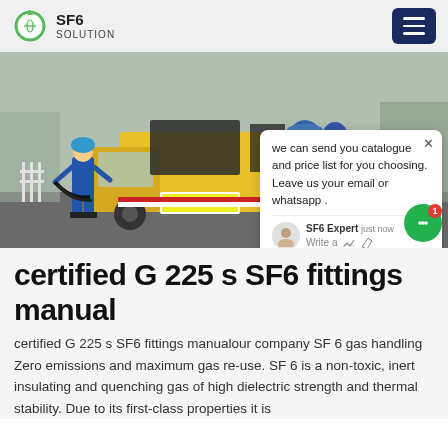SF6 SOLUTION
[Figure (photo): Worker in blue uniform loading equipment onto a yellow truck at an industrial/electrical substation site. Blue barrels and cables visible in truck bed. License plate V2578.]
we can send you catalogue and price list for you choosing. Leave us your email or whatsapp . SF6 Expert  just now  Write a
certified G 225 s SF6 fittings manual
certified G 225 s SF6 fittings manualour company SF 6 gas handling Zero emissions and maximum gas re-use. SF 6 is a non-toxic, inert insulating and quenching gas of high dielectric strength and thermal stability. Due to its first-class properties it is